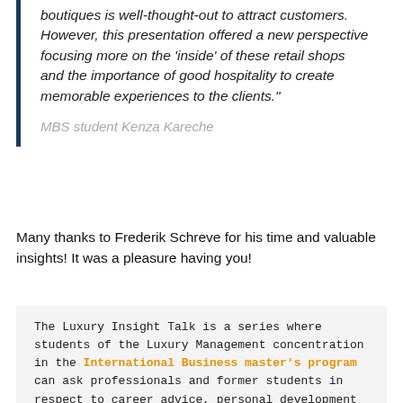boutiques is well-thought-out to attract customers. However, this presentation offered a new perspective focusing more on the 'inside' of these retail shops and the importance of good hospitality to create memorable experiences to the clients."
MBS student Kenza Kareche
Many thanks to Frederik Schreve for his time and valuable insights! It was a pleasure having you!
The Luxury Insight Talk is a series where students of the Luxury Management concentration in the International Business master's program can ask professionals and former students in respect to career advice, personal development or course related topics.